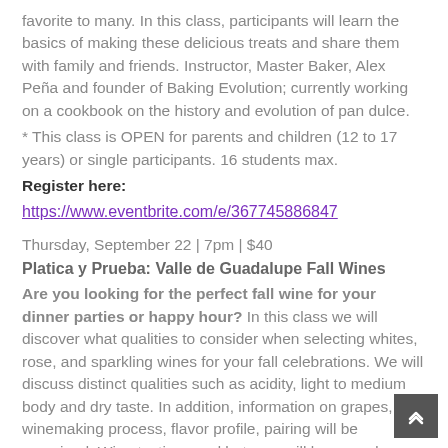favorite to many. In this class, participants will learn the basics of making these delicious treats and share them with family and friends. Instructor, Master Baker, Alex Peña and founder of Baking Evolution; currently working on a cookbook on the history and evolution of pan dulce.
* This class is OPEN for parents and children (12 to 17 years) or single participants. 16 students max.
Register here:
https://www.eventbrite.com/e/367745886847
Thursday, September 22 | 7pm | $40
Platica y Prueba: Valle de Guadalupe Fall Wines
Are you looking for the perfect fall wine for your dinner parties or happy hour? In this class we will discover what qualities to consider when selecting whites, rose, and sparkling wines for your fall celebrations. We will discuss distinct qualities such as acidity, light to medium body and dry taste. In addition, information on grapes, winemaking process, flavor profile, pairing will be examined. Wine tastings and botanas will be served.